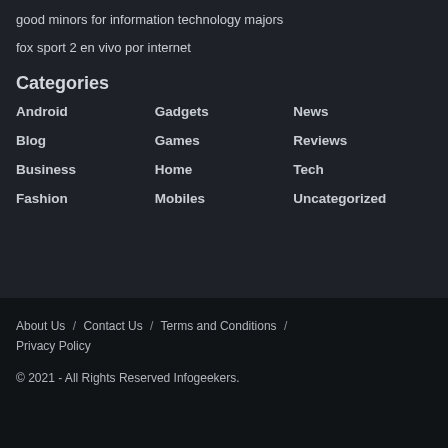good minors for information technology majors
fox sport 2 en vivo por internet
Categories
Android
Gadgets
News
Blog
Games
Reviews
Business
Home
Tech
Fashion
Mobiles
Uncategorized
About Us / Contact Us / Terms and Conditions / Privacy Policy
© 2021 - All Rights Reserved Infogeekers.